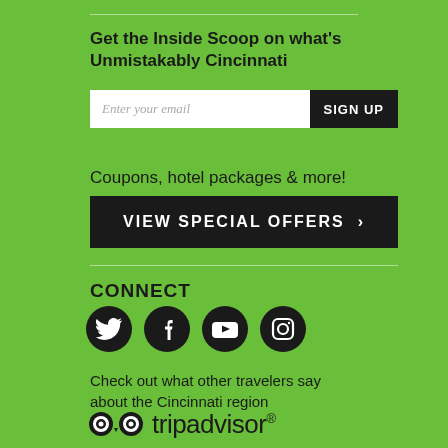Get the Inside Scoop on what's Unmistakably Cincinnati
Enter your email  SIGN UP
Coupons, hotel packages & more!
VIEW SPECIAL OFFERS >
CONNECT
[Figure (illustration): Four social media icons in black circles: Twitter, Facebook, YouTube, Instagram]
Check out what other travelers say about the Cincinnati region
[Figure (logo): TripAdvisor logo with owl icon and text 'tripadvisor' with registered trademark symbol]